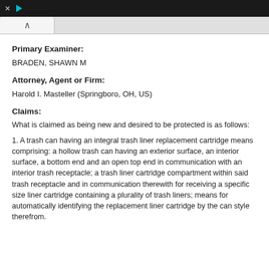Browser toolbar with icons
Primary Examiner:
BRADEN, SHAWN M
Attorney, Agent or Firm:
Harold I. Masteller (Springboro, OH, US)
Claims:
What is claimed as being new and desired to be protected is as follows:
1. A trash can having an integral trash liner replacement cartridge means comprising: a hollow trash can having an exterior surface, an interior surface, a bottom end and an open top end in communication with an interior trash receptacle; a trash liner cartridge compartment within said trash receptacle and in communication therewith for receiving a specific size liner cartridge containing a plurality of trash liners; means for automatically identifying the replacement liner cartridge by the can style therefrom.